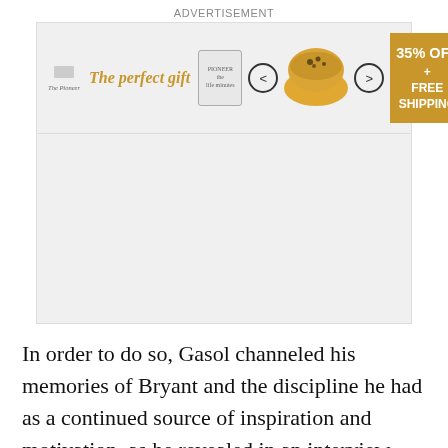ADVERTISEMENT
[Figure (other): Advertisement banner showing 'The perfect gift' with a jar product, navigation arrows, a bowl of food, and a golden box offering '35% OFF + FREE SHIPPING']
In order to do so, Gasol channeled his memories of Bryant and the discipline he had as a continued source of inspiration and motivation, as he revealed in an interview with Mark Medina of USA Today:
“I kept him in mind a lot of the days to say hey ‘Kobe